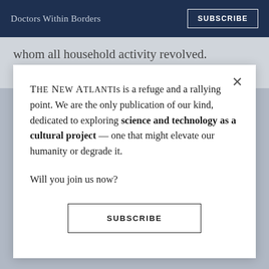Doctors Within Borders  SUBSCRIBE
whom all household activity revolved. Although with
THE NEW ATLANTIS is a refuge and a rallying point. We are the only publication of our kind, dedicated to exploring science and technology as a cultural project — one that might elevate our humanity or degrade it.

Will you join us now?
SUBSCRIBE